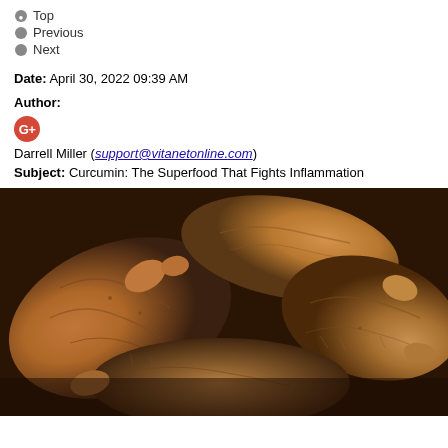Top
Previous
Next
Date: April 30, 2022 09:39 AM
Author:
Darrell Miller (support@vitanetonline.com)
Subject: Curcumin: The Superfood That Fights Inflammation
[Figure (photo): Close-up photograph of turmeric roots (curcumin rhizomes), showing knobbly, golden-brown ginger-like roots piled together]